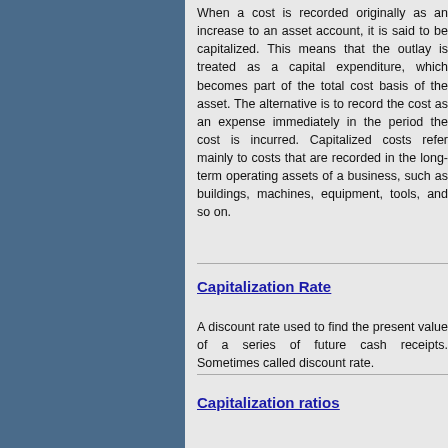When a cost is recorded originally as an increase to an asset account, it is said to be capitalized. This means that the outlay is treated as a capital expenditure, which becomes part of the total cost basis of the asset. The alternative is to record the cost as an expense immediately in the period the cost is incurred. Capitalized costs refer mainly to costs that are recorded in the long-term operating assets of a business, such as buildings, machines, equipment, tools, and so on.
Capitalization Rate
A discount rate used to find the present value of a series of future cash receipts. Sometimes called discount rate.
Capitalization ratios